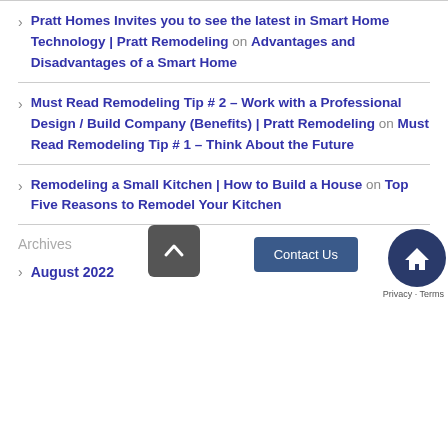Pratt Homes Invites you to see the latest in Smart Home Technology | Pratt Remodeling on Advantages and Disadvantages of a Smart Home
Must Read Remodeling Tip # 2 – Work with a Professional Design / Build Company (Benefits) | Pratt Remodeling on Must Read Remodeling Tip # 1 – Think About the Future
Remodeling a Small Kitchen | How to Build a House on Top Five Reasons to Remodel Your Kitchen
Archives
August 2022